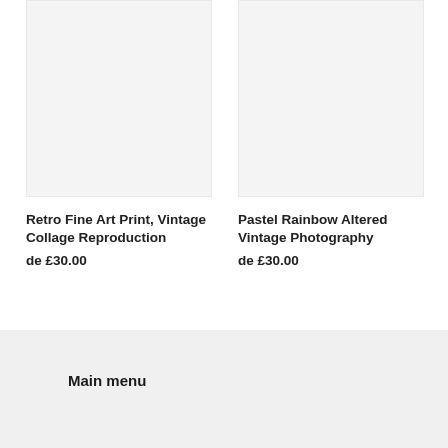[Figure (photo): Product image placeholder (light gray box) for Retro Fine Art Print, Vintage Collage Reproduction]
Retro Fine Art Print, Vintage Collage Reproduction
de £30.00
[Figure (photo): Product image placeholder (light gray box) for Pastel Rainbow Altered Vintage Photography]
Pastel Rainbow Altered Vintage Photography
de £30.00
Main menu